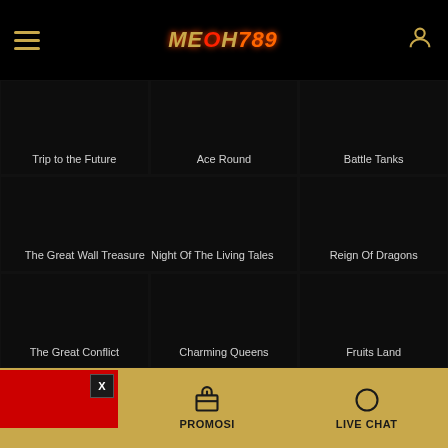MEOH789 — mobile casino app header with hamburger menu and user icon
[Figure (screenshot): Game thumbnail grid showing: Trip to the Future, Ace Round, Battle Tanks (row 1); The Great Wall Treasure, Night Of The Living Tales (wide), Reign Of Dragons (row 2); The Great Conflict, Charming Queens, Fruits Land (row 3)]
HOME | PROMOSI | LIVE CHAT — bottom navigation bar